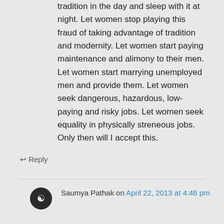tradition in the day and sleep with it at night. Let women stop playing this fraud of taking advantage of tradition and modernity. Let women start paying maintenance and alimony to their men. Let women start marrying unemployed men and provide them. Let women seek dangerous, hazardous, low-paying and risky jobs. Let women seek equality in physically streneous jobs. Only then will I accept this.
↵ Reply
Saumya Pathak on April 22, 2013 at 4:46 pm